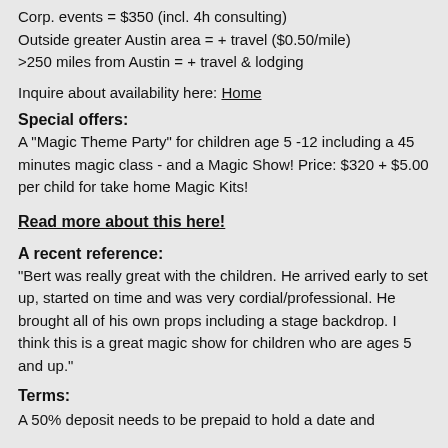Corp. events = $350 (incl. 4h consulting)
Outside greater Austin area = + travel ($0.50/mile)
>250 miles from Austin = + travel & lodging
Inquire about availability here: Home
Special offers:
A "Magic Theme Party" for children age 5 -12 including a 45 minutes magic class - and a Magic Show! Price: $320 + $5.00 per child for take home Magic Kits!
Read more about this here!
A recent reference:
"Bert was really great with the children. He arrived early to set up, started on time and was very cordial/professional. He brought all of his own props including a stage backdrop. I think this is a great magic show for children who are ages 5 and up."
Terms:
A 50% deposit needs to be prepaid to hold a date and